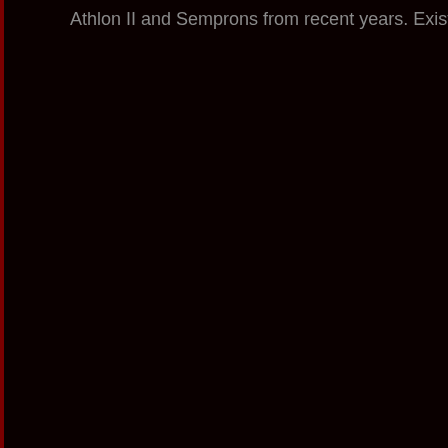Athlon II and Semprons from recent years. Existing AM3 coolers wi